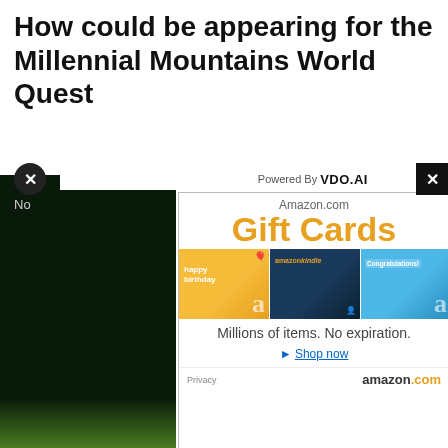How could be appearing for the Millennial Mountains World Quest
[Figure (screenshot): A video player area with dark background showing partial text 'No' and green gradient at bottom]
[Figure (screenshot): Amazon.com Gift Cards advertisement popup with close buttons and VDO.AI branding. Shows three gift card images (happy birthday, amazon kindle, congratulations), text 'Millions of items. No expiration.' and 'Shop now' link. Footer shows Privacy and amazon.com logo.]